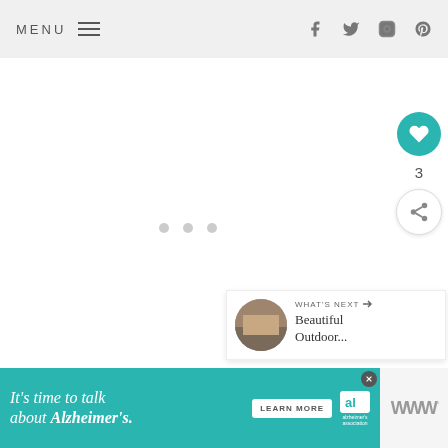MENU  [hamburger icon]  [facebook] [twitter] [instagram] [pinterest]
[Figure (other): Loading spinner with three grey dots centered in white content area]
[Figure (other): Teal circular heart (like) button with count of 3 and a share button below, on the right side of the page]
[Figure (other): What's Next panel with thumbnail image, label WHAT'S NEXT with arrow, and title text Beautiful Outdoor...]
[Figure (other): Advertisement banner: It's time to talk about Alzheimer's. with LEARN MORE button and Alzheimer's Association logo]